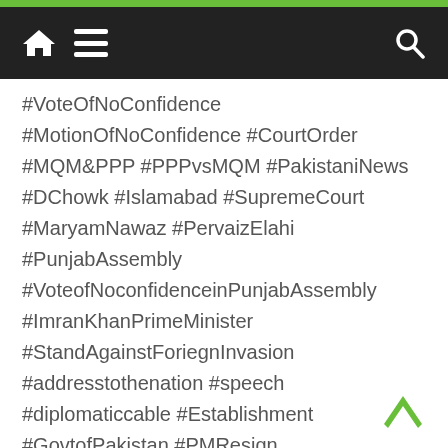[Figure (screenshot): Mobile website navigation bar with home icon, hamburger menu icon on dark background, and search icon on the right]
#VoteOfNoConfidence #MotionOfNoConfidence #CourtOrder #MQM&PPP #PPPvsMQM #PakistaniNews #DChowk #Islamabad #SupremeCourt #MaryamNawaz #PervaizElahi #PunjabAssembly #VoteofNoconfidenceinPunjabAssembly #ImranKhanPrimeMinister #StandAgainstForiegn­Invasion #addresstothenation #speech #diplomaticcable #Establishment #GovtofPakistan #PMResign #ForeignEstablishment #MQM #PervaizElahi #AleemKhan #JkTGroup